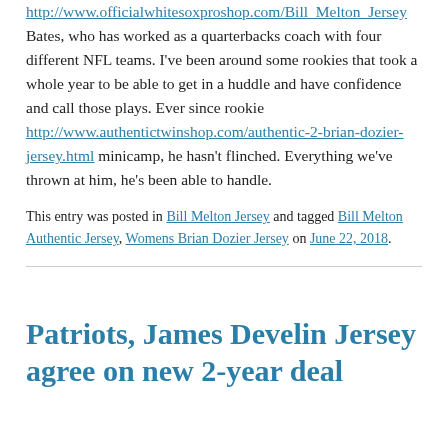http://www.officialwhitesoxproshop.com/Bill_Melton_Jersey Bates, who has worked as a quarterbacks coach with four different NFL teams. I've been around some rookies that took a whole year to be able to get in a huddle and have confidence and call those plays. Ever since rookie http://www.authentictwinshop.com/authentic-2-brian-dozier-jersey.html minicamp, he hasn't flinched. Everything we've thrown at him, he's been able to handle.
This entry was posted in Bill Melton Jersey and tagged Bill Melton Authentic Jersey, Womens Brian Dozier Jersey on June 22, 2018.
Patriots, James Develin Jersey agree on new 2-year deal